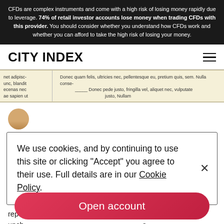CFDs are complex instruments and come with a high risk of losing money rapidly due to leverage. 74% of retail investor accounts lose money when trading CFDs with this provider. You should consider whether you understand how CFDs work and whether you can afford to take the high risk of losing your money.
CITY INDEX
[Figure (screenshot): Newspaper article preview strip with yellow highlight and lorem ipsum text in two columns]
We use cookies, and by continuing to use this site or clicking "Accept" you agree to their use. Full details are in our Cookie Policy.
reported that the Average hourly earnings were 0.3% vs a revised print of